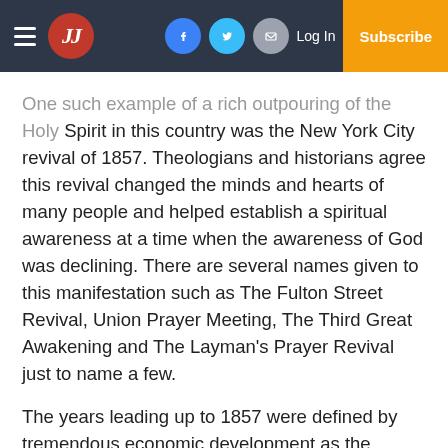JJ | Log In | Subscribe
One such example of a rich outpouring of the Holy Spirit in this country was the New York City revival of 1857. Theologians and historians agree this revival changed the minds and hearts of many people and helped establish a spiritual awareness at a time when the awareness of God was declining. There are several names given to this manifestation such as The Fulton Street Revival, Union Prayer Meeting, The Third Great Awakening and The Layman's Prayer Revival just to name a few.
The years leading up to 1857 were defined by tremendous economic development as the United